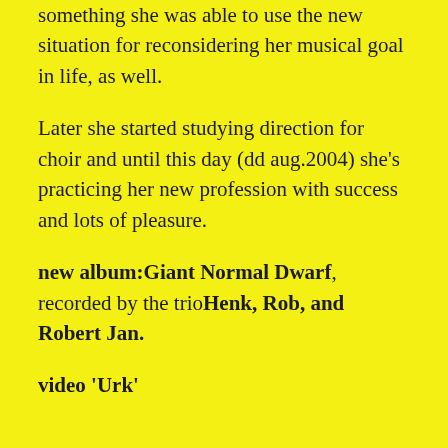something she was able to use the new situation for reconsidering her musical goal in life, as well.
Later she started studying direction for choir and until this day (dd aug.2004) she’s practicing her new profession with success and lots of pleasure.
new album:Giant Normal Dwarf, recorded by the trioHenk, Rob, and Robert Jan.
video ‘Urk’